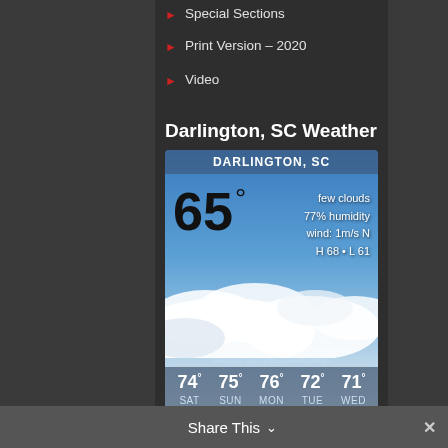Special Sections
Print Version – 2020
Video
Darlington, SC Weather
[Figure (infographic): Weather widget showing DARLINGTON, SC. Temperature 65°, few clouds, 77% humidity, wind: 1m/s N, H 68 • L 61. Forecast: SAT 74°, SUN 75°, MON 76°, TUE 72°, WED 71°. Background shows blue sky with clouds.]
Share This ∨   ✕